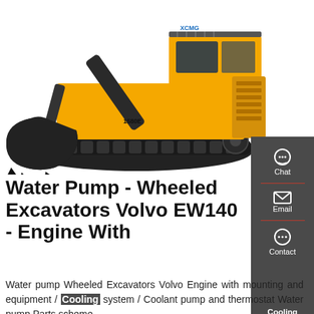[Figure (photo): Large yellow tracked excavator (XCMG branded) with front-facing bucket attachment, photographed on white background]
Water Pump - Wheeled Excavators Volvo EW140 - Engine With
Water pump Wheeled Excavators Volvo Engine with mounting and equipment / Cooling system / Coolant pump and thermostat Water pump Parts scheme